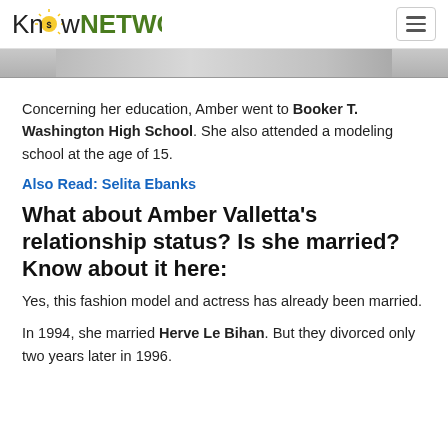KnowNETWORTH
[Figure (photo): Partial bottom edge of a photo, showing a gray/silver background strip]
Concerning her education, Amber went to Booker T. Washington High School. She also attended a modeling school at the age of 15.
Also Read: Selita Ebanks
What about Amber Valletta's relationship status? Is she married? Know about it here:
Yes, this fashion model and actress has already been married.
In 1994, she married Herve Le Bihan. But they divorced only two years later in 1996.